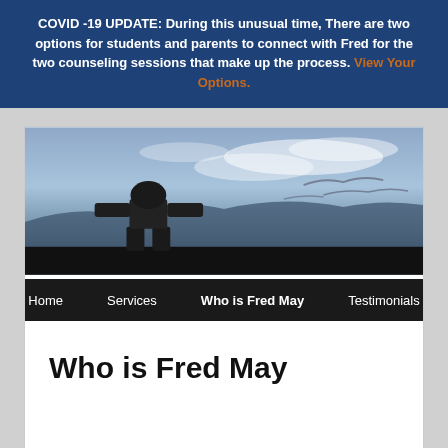COVID -19 UPDATE: During this unusual time, There are two options for students and parents to connect with Fred for the two counseling sessions that make up the process. View Your Options.
[Figure (photo): Panoramic photo of an inukshuk (stone figure) silhouetted against a dramatic cloudy sky with blue tones and distant mountains]
Home   Services   Who is Fred May   Testimonials
Who is Fred May